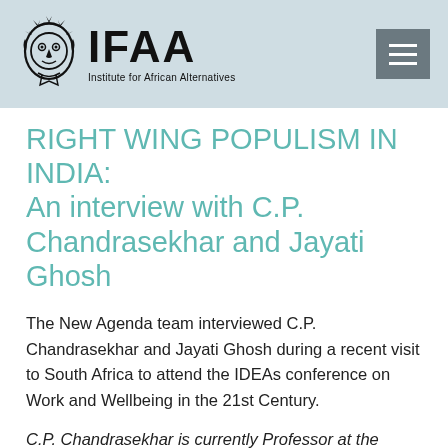[Figure (logo): IFAA - Institute for African Alternatives logo with a stylized face/mask icon and bold IFAA text with subtitle]
RIGHT WING POPULISM IN INDIA: An interview with C.P. Chandrasekhar and Jayati Ghosh
The New Agenda team interviewed C.P. Chandrasekhar and Jayati Ghosh during a recent visit to South Africa to attend the IDEAs conference on Work and Wellbeing in the 21st Century.
C.P. Chandrasekhar is currently Professor at the